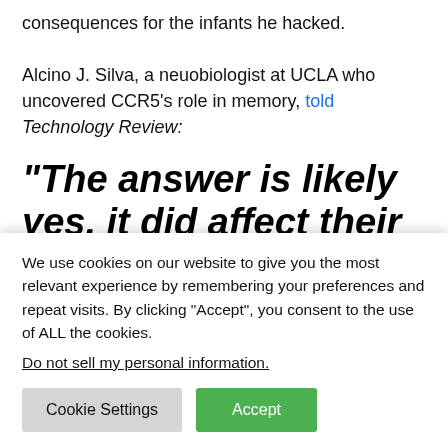consequences for the infants he hacked.
Alcino J. Silva, a neuobiologist at UCLA who uncovered CCR5's role in memory, told Technology Review:
“The answer is likely yes, it did affect their brains ... The simplest interpretation is that those mutations will
We use cookies on our website to give you the most relevant experience by remembering your preferences and repeat visits. By clicking “Accept”, you consent to the use of ALL the cookies.
Do not sell my personal information.